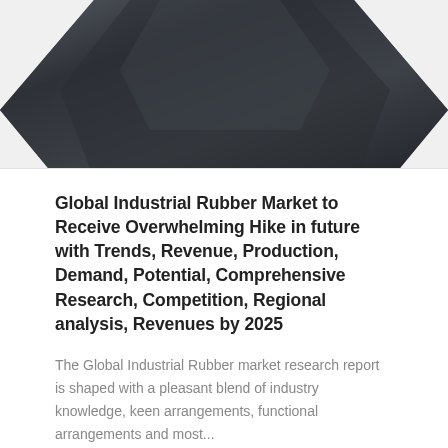[Figure (photo): Partial view of a dark grey/charcoal industrial rubber material or piece, cropped at the top of the card]
Global Industrial Rubber Market to Receive Overwhelming Hike in future with Trends, Revenue, Production, Demand, Potential, Comprehensive Research, Competition, Regional analysis, Revenues by 2025
The Global Industrial Rubber market research report is shaped with a pleasant blend of industry knowledge, keen arrangements, functional arrangements and most...
Read More